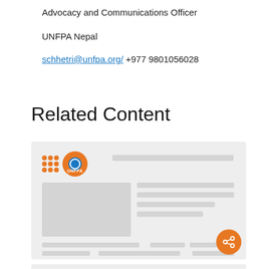Advocacy and Communications Officer
UNFPA Nepal
schhetri@unfpa.org/ +977 9801056028
Related Content
[Figure (screenshot): Screenshot thumbnail of an UNFPA webpage showing the UNFPA logo with orange dots grid and orange circle badge with 'UNFPA' text, and grey placeholder bars representing page content in a card layout.]
[Figure (infographic): Partial card showing PUBLICATIONS section label in orange with an orange document icon, beginning of a new related content card at the bottom of the page.]